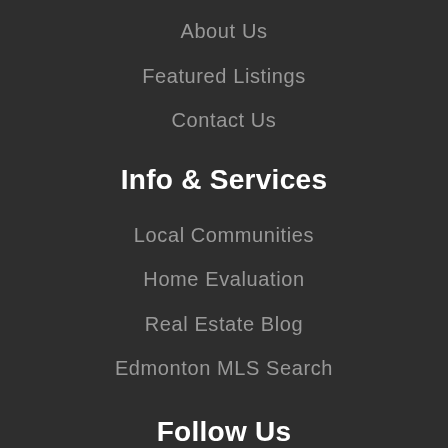About Us
Featured Listings
Contact Us
Info & Services
Local Communities
Home Evaluation
Real Estate Blog
Edmonton MLS Search
Follow Us